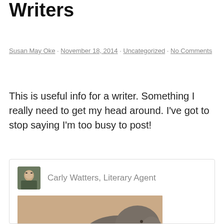Writers
Susan May Oke · November 18, 2014 · Uncategorized · No Comments
This is useful info for a writer. Something I really need to get my head around. I've got to stop saying I'm too busy to post!
[Figure (screenshot): Embedded social media post from Carly Watters, Literary Agent, showing a sepia-toned photo of a child reading a book next to a large elephant, with the text 'This is' visible to the right.]